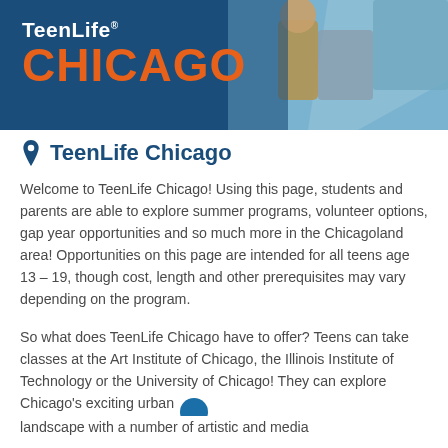[Figure (photo): Header banner with dark blue background showing TeenLife Chicago logo on the left and a photo of teens outdoors on the right]
TeenLife Chicago
Welcome to TeenLife Chicago! Using this page, students and parents are able to explore summer programs, volunteer options, gap year opportunities and so much more in the Chicagoland area! Opportunities on this page are intended for all teens age 13 – 19, though cost, length and other prerequisites may vary depending on the program.
So what does TeenLife Chicago have to offer? Teens can take classes at the Art Institute of Chicago, the Illinois Institute of Technology or the University of Chicago! They can explore Chicago's exciting urban landscape with a number of artistic and media